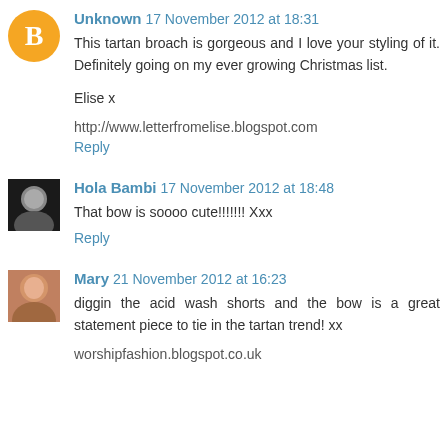Unknown 17 November 2012 at 18:31
This tartan broach is gorgeous and I love your styling of it. Definitely going on my ever growing Christmas list.

Elise x

http://www.letterfromelise.blogspot.com
Reply
Hola Bambi 17 November 2012 at 18:48
That bow is soooo cute!!!!!!! Xxx
Reply
Mary 21 November 2012 at 16:23
diggin the acid wash shorts and the bow is a great statement piece to tie in the tartan trend! xx

worshipfashion.blogspot.co.uk